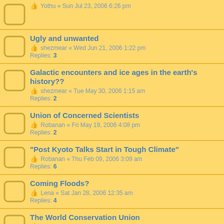Yothu « Sun Jul 23, 2006 6:26 pm
Ugly and unwanted
shezmear « Wed Jun 21, 2006 1:22 pm
Replies: 3
Galactic encounters and ice ages in the earth's history??
shezmear « Tue May 30, 2006 1:15 am
Replies: 2
Union of Concerned Scientists
Robanan « Fri May 19, 2006 4:08 pm
Replies: 2
"Post Kyoto Talks Start in Tough Climate"
Robanan « Thu Feb 09, 2006 3:09 am
Replies: 6
Coming Floods?
Lena « Sat Jan 28, 2006 12:35 am
Replies: 4
The World Conservation Union
bomohwkl « Tue Oct 25, 2005 10:55 pm
U.N. Environment Atlas Reveals Planetwide Devastation
InfoSource « Mon Jun 06, 2005 8:40 pm
Replies: 1
Childhood Cancer Near High Voltage Power Lines
trumpet_in_cool « Fri Jun 03, 2005 5:51 pm